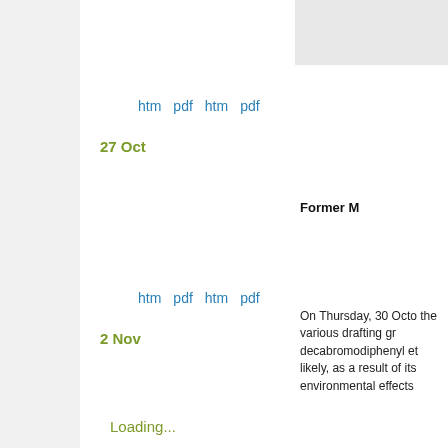htm  pdf  htm  pdf
27 Oct
htm  pdf  htm  pdf
2 Nov
Loading...
Tweets by @IISDRS
Former M
On Thursday, 30 Octo the various drafting gr decabromodiphenyl et likely, as a result of its environmental effects
Later in the morning, t or B of the Convention interested members m
POPRC began its afte (PFOS) its salts and p meets the Annex D cri Annex A of the Conve a decision on the proc Committee establishe alternatives, and resta
Closing the meeting, C period." She then gav